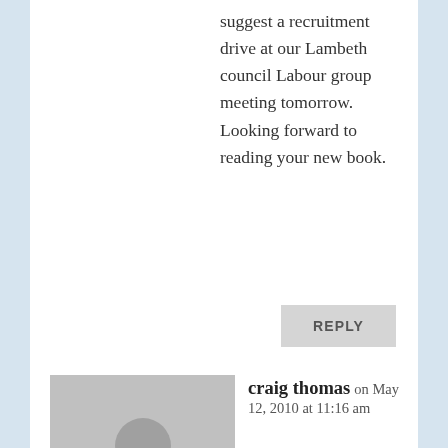suggest a recruitment drive at our Lambeth council Labour group meeting tomorrow. Looking forward to reading your new book.
REPLY
[Figure (illustration): Generic grey avatar placeholder showing a silhouette of a person (head and shoulders)]
craig thomas on May 12, 2010 at 11:16 am
Do you think you could you find time also, Alastair, to campaign for the Meat and Potato Pie to become mandatory at every football ground in this country? If...